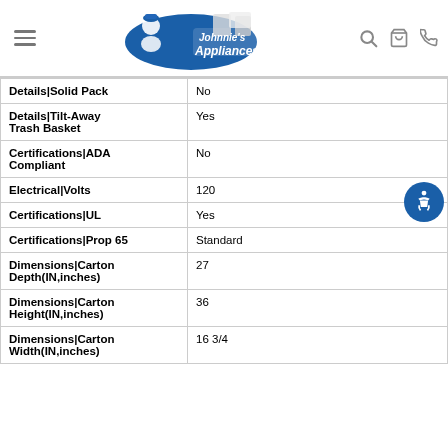Johnnie's Appliances — navigation header
| Attribute | Value |
| --- | --- |
| Details|Solid Pack | No |
| Details|Tilt-Away Trash Basket | Yes |
| Certifications|ADA Compliant | No |
| Electrical|Volts | 120 |
| Certifications|UL | Yes |
| Certifications|Prop 65 | Standard |
| Dimensions|Carton Depth(IN,inches) | 27 |
| Dimensions|Carton Height(IN,inches) | 36 |
| Dimensions|Carton Width(IN,inches) | 16 3/4 |